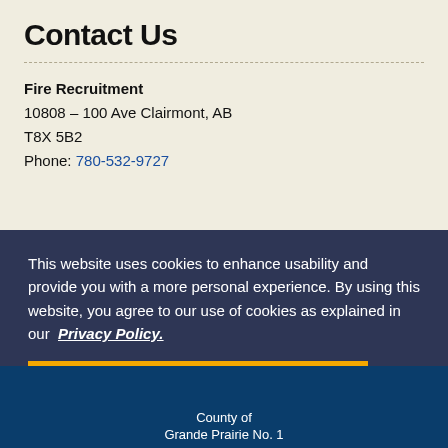Contact Us
Fire Recruitment
10808 – 100 Ave Clairmont, AB
T8X 5B2
Phone: 780-532-9727
This website uses cookies to enhance usability and provide you with a more personal experience. By using this website, you agree to our use of cookies as explained in our  Privacy Policy.
Agree
County of
Grande Prairie No. 1